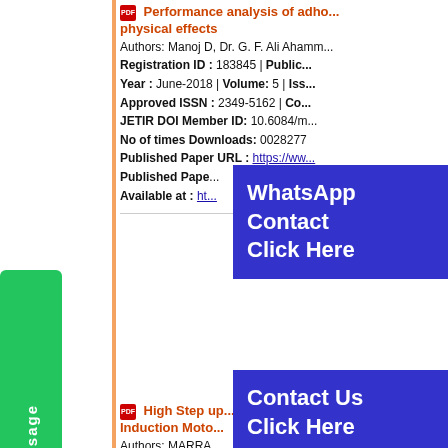Performance analysis of adho... physical effects. Authors: Manoj D, Dr. G. F. Ali Ahamm... Registration ID: 183845 | Public... Year: June-2018 | Volume: 5 | Iss... Approved ISSN: 2349-5162 | Co... JETIR DOI Member ID: 10.6084/m... No of times Downloads: 0028277 Published Paper URL: https://ww... Published Paper PDF: https://... Available at: ht...
[Figure (infographic): WhatsApp Contact Click Here overlay button in blue/purple]
High Step up... Induction Moto... Authors: MARRA... Registration ID: 183743 | Public... Year: June-2018 | Volume: 5 | Iss... Approved ISSN: 2349-5162 | Co... JETIR DOI Member ID: 10.6084/m... No of times Downloads: 0028433 Published Paper URL: https://ww... Published Paper PDF: https://ww... Available at: http://www.jetir.org/p...
[Figure (infographic): Contact Us Click Here overlay button in blue/purple]
[Figure (infographic): Green Message button on left sidebar with circle icon and vertical text]